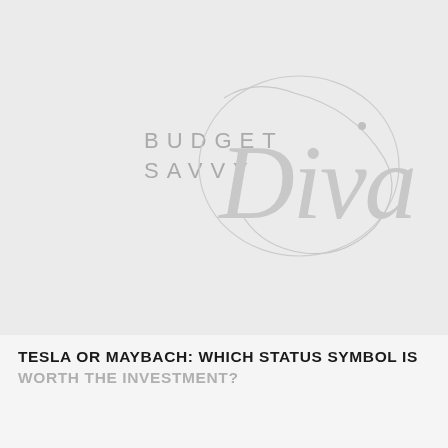[Figure (logo): Budget Savvy Diva logo — the words BUDGET SAVVY in spaced sans-serif capitals with a large ornate cursive Diva script overlapping, all in light grey on a light grey background.]
TESLA OR MAYBACH: WHICH STATUS SYMBOL IS WORTH THE INVESTMENT?